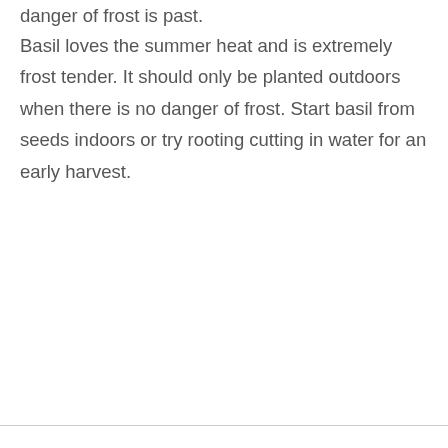danger of frost is past.
Basil loves the summer heat and is extremely frost tender. It should only be planted outdoors when there is no danger of frost. Start basil from seeds indoors or try rooting cutting in water for an early harvest.